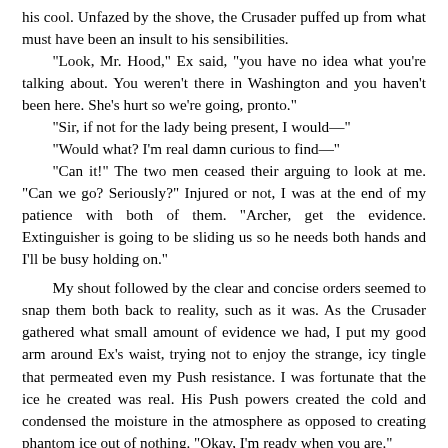his cool. Unfazed by the shove, the Crusader puffed up from what must have been an insult to his sensibilities.
	"Look, Mr. Hood," Ex said, "you have no idea what you're talking about. You weren't there in Washington and you haven't been here. She's hurt so we're going, pronto."
	"Sir, if not for the lady being present, I would—"
	"Would what? I'm real damn curious to find—"
	"Can it!" The two men ceased their arguing to look at me. "Can we go? Seriously?" Injured or not, I was at the end of my patience with both of them. "Archer, get the evidence. Extinguisher is going to be sliding us so he needs both hands and I'll be busy holding on."

My shout followed by the clear and concise orders seemed to snap them both back to reality, such as it was. As the Crusader gathered what small amount of evidence we had, I put my good arm around Ex's waist, trying not to enjoy the strange, icy tingle that permeated even my Push resistance. I was fortunate that the ice he created was real. His Push powers created the cold and condensed the moisture in the atmosphere as opposed to creating phantom ice out of nothing. "Okay, I'm ready when you are."
	"Okay, Robin." The frozen fireman glanced behind him at Archer. "I hope that tin suit of yours can keep up."
	"Undoubtedly, my frost-laden friend," Archer replied. "Undoubtedly." Flaunting itself in the face of conventional